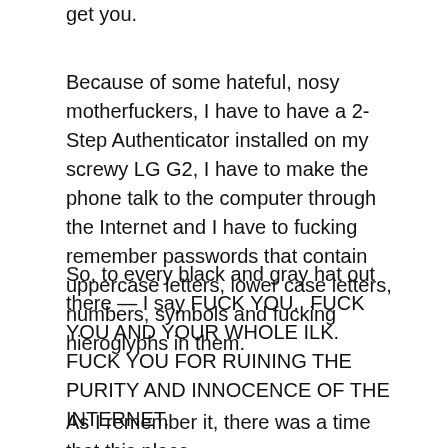get you.
Because of some hateful, nosy motherfuckers, I have to have a 2-Step Authenticator installed on my screwy LG G2, I have to make the phone talk to the computer through the Internet and I have to fucking remember passwords that contain uppercase letters, lower case letters, numbers, symbols and fucking hieroglyphs in them.
So, to every black and gray hat out there — I say FUCK YOU.  FUCK YOU AND YOUR WHOLE ILK.  FUCK YOU FOR RUINING THE PURITY AND INNOCENCE OF THE INTERNET.
As I remember it, there was a time that this place